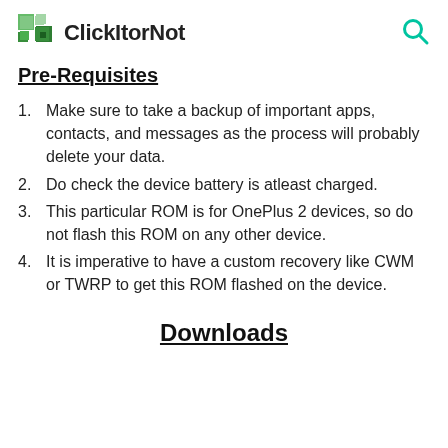ClickItorNot
Pre-Requisites
Make sure to take a backup of important apps, contacts, and messages as the process will probably delete your data.
Do check the device battery is atleast charged.
This particular ROM is for OnePlus 2 devices, so do not flash this ROM on any other device.
It is imperative to have a custom recovery like CWM or TWRP to get this ROM flashed on the device.
Downloads